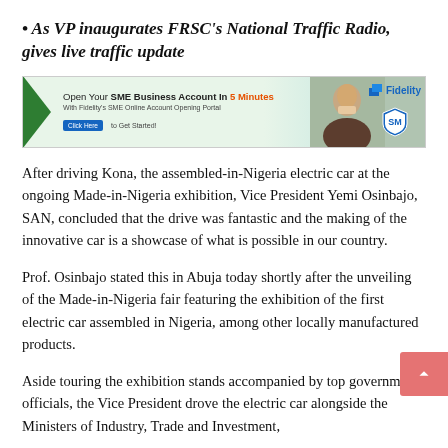• As VP inaugurates FRSC's National Traffic Radio, gives live traffic update
[Figure (infographic): Fidelity Bank advertisement banner: Open Your SME Business Account In 5 Minutes. With Fidelity's SME Online Account Opening Portal. Click Here to Get Started!]
After driving Kona, the assembled-in-Nigeria electric car at the ongoing Made-in-Nigeria exhibition, Vice President Yemi Osinbajo, SAN, concluded that the drive was fantastic and the making of the innovative car is a showcase of what is possible in our country.
Prof. Osinbajo stated this in Abuja today shortly after the unveiling of the Made-in-Nigeria fair featuring the exhibition of the first electric car assembled in Nigeria, among other locally manufactured products.
Aside touring the exhibition stands accompanied by top government officials, the Vice President drove the electric car alongside the Ministers of Industry, Trade and Investment,